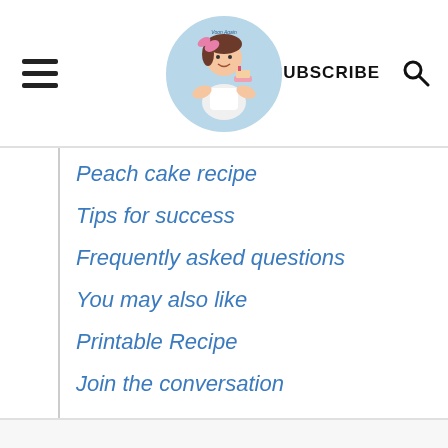≡  [Logo: Voon Again]  SUBSCRIBE 🔍
Peach cake recipe
Tips for success
Frequently asked questions
You may also like
Printable Recipe
Join the conversation